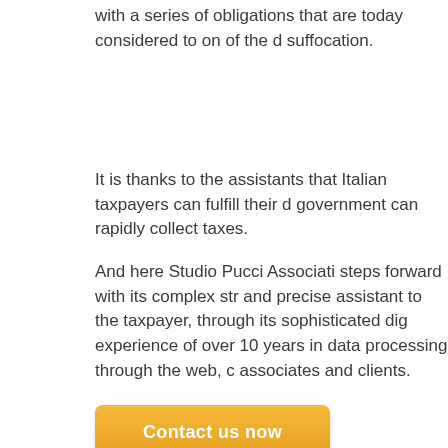with a series of obligations that are today considered to on of the suffocation.
It is thanks to the assistants that Italian taxpayers can fulfill their d government can rapidly collect taxes.
And here Studio Pucci Associati steps forward with its complex str and precise assistant to the taxpayer, through its sophisticated dig experience of over 10 years in data processing through the web, c associates and clients.
Contact us now